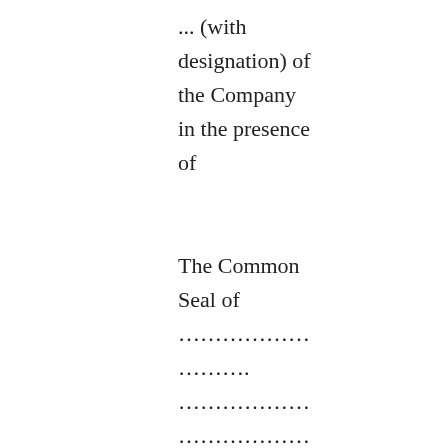... (with designation) of the Company in the presence of

The Common Seal of
………………
……….
………………
………………
…………….. has hereunto been affixed by  Shri
………………
... (with designation) of